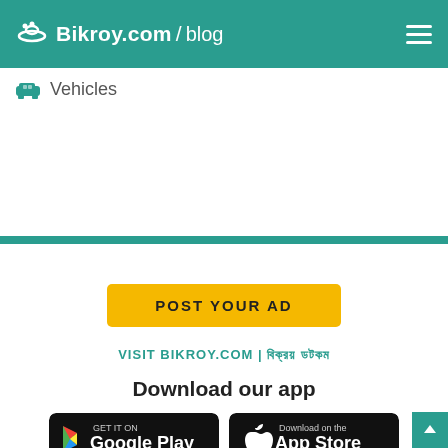Bikroy.com / blog
Vehicles
POST YOUR AD
VISIT BIKROY.COM | বিক্রয় ডটকম
Download our app
[Figure (logo): Google Play badge - GET IT ON Google Play]
[Figure (logo): App Store badge - Download on the App Store]